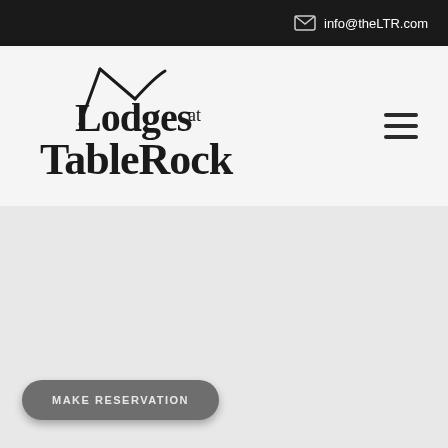info@theLTR.com
[Figure (logo): Lodges at TableRock logo — stylized text with a roofline graphic above the letters]
[Figure (other): Hamburger menu icon — three horizontal lines]
[Figure (other): Large gray content/hero image area below the navigation bar]
MAKE RESERVATION